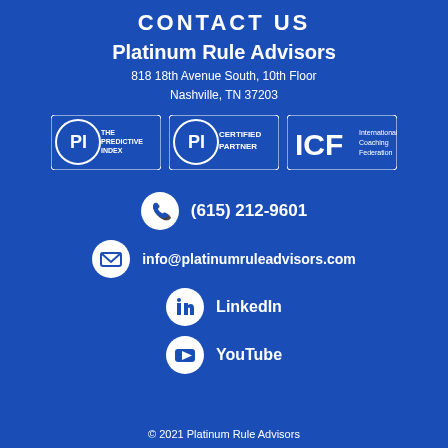CONTACT US
Platinum Rule Advisors
818 18th Avenue South, 10th Floor
Nashville, TN 37203
[Figure (logo): Three logos in a row: PI The Predictive Index, PI Certified Partner, ICF International Coaching Federation]
(615) 212-9601
info@platinumruleadvisors.com
LinkedIn
YouTube
© 2021 Platinum Rule Advisors